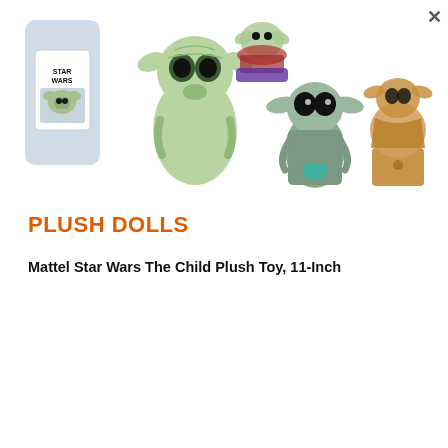[Figure (photo): Product photo showing multiple Star Wars The Child (Baby Yoda) figurines and a Star Wars themed container/mug on a white background. Figures include green ceramic, a small frog-holding figure, a translucent orange-brown figure, and others.]
PLUSH DOLLS
Mattel Star Wars The Child Plush Toy, 11-Inch
[Figure (photo): Close-up photo of Mattel Plush Baby Yoda (The Child) toy, showing the top of the head with large green ears, labeled MATTEL PLUSH in the upper right.]